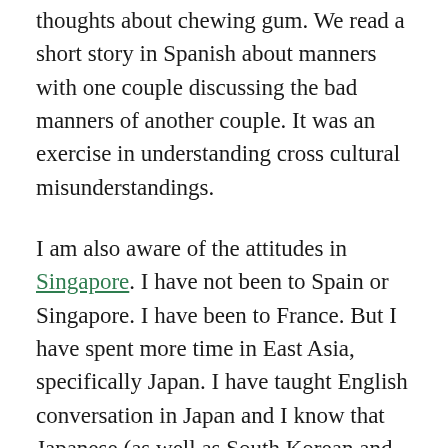thoughts about chewing gum. We read a short story in Spanish about manners with one couple discussing the bad manners of another couple. It was an exercise in understanding cross cultural misunderstandings.
I am also aware of the attitudes in Singapore. I have not been to Spain or Singapore. I have been to France. But I have spent more time in East Asia, specifically Japan. I have taught English conversation in Japan and I know that Japanese (as well as South Korean and Chinese) business people study the etiquette of the place they expect to do business before they go. This is normal research and